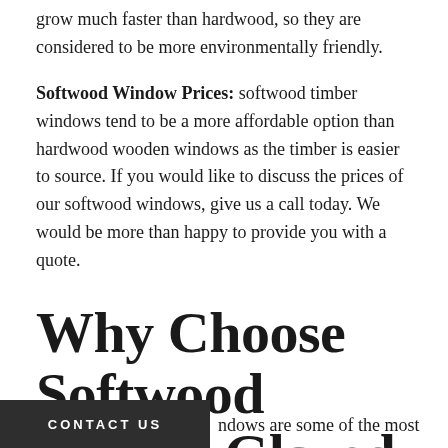grow much faster than hardwood, so they are considered to be more environmentally friendly.
Softwood Window Prices: softwood timber windows tend to be a more affordable option than hardwood wooden windows as the timber is easier to source. If you would like to discuss the prices of our softwood windows, give us a call today. We would be more than happy to provide you with a quote.
Why Choose Softwood Double Glazed Windows?
CONTACT US
ndows are some of the most